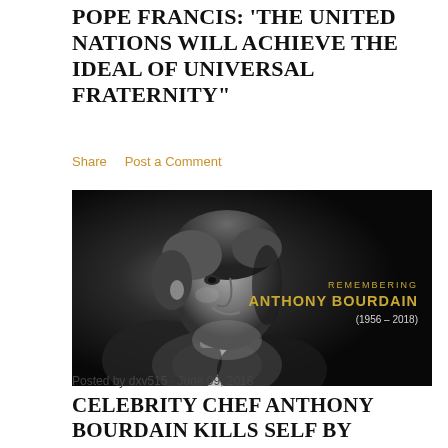POPE FRANCIS: 'THE UNITED NATIONS WILL ACHIEVE THE IDEAL OF UNIVERSAL FRATERNITY"
Share   Post a Comment
[Figure (photo): Black and white photo of Anthony Bourdain in profile view, smiling, wearing a dark jacket and white shirt. Overlaid text reads 'REMEMBERING ANTHONY BOURDAIN (1956 – 2018)' in gold text on the right side of the image.]
Posted by dxv515 · June 09, 2018
CELEBRITY CHEF ANTHONY BOURDAIN KILLS SELF BY MEANS OF AUTO-EROTIC ASPHYXIATION!